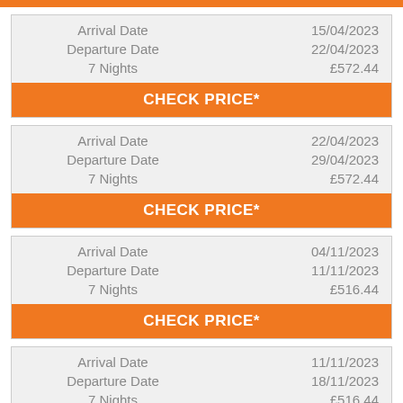| Field | Value |
| --- | --- |
| Arrival Date | 15/04/2023 |
| Departure Date | 22/04/2023 |
| 7 Nights | £572.44 |
CHECK PRICE*
| Field | Value |
| --- | --- |
| Arrival Date | 22/04/2023 |
| Departure Date | 29/04/2023 |
| 7 Nights | £572.44 |
CHECK PRICE*
| Field | Value |
| --- | --- |
| Arrival Date | 04/11/2023 |
| Departure Date | 11/11/2023 |
| 7 Nights | £516.44 |
CHECK PRICE*
| Field | Value |
| --- | --- |
| Arrival Date | 11/11/2023 |
| Departure Date | 18/11/2023 |
| 7 Nights | £516.44 |
CHECK PRICE*